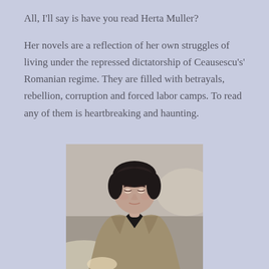All, I'll say is have you read Herta Muller?
Her novels are a reflection of her own struggles of living under the repressed dictatorship of Ceausescu's' Romanian regime. They are filled with betrayals, rebellion, corruption and forced labor camps. To read any of them is heartbreaking and haunting.
[Figure (photo): A woman with short dark hair wearing a black shirt and a tan/beige cardigan, looking downward, photographed in a muted indoor setting.]